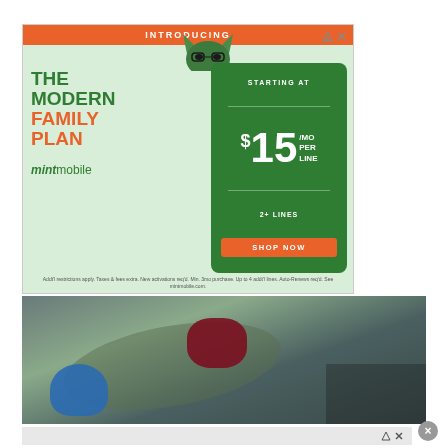[Figure (advertisement): Mint Mobile advertisement introducing 'The Modern Family Plan' starting at $15/mo per line for 2+ lines with a shop now button. Features a cartoon cat mascot and mint green background with orange and green branding.]
[Figure (photo): Aerial/overhead view of colorful toys (blue and red/maroon) on grass or pavement, slightly blurry/bokeh photo.]